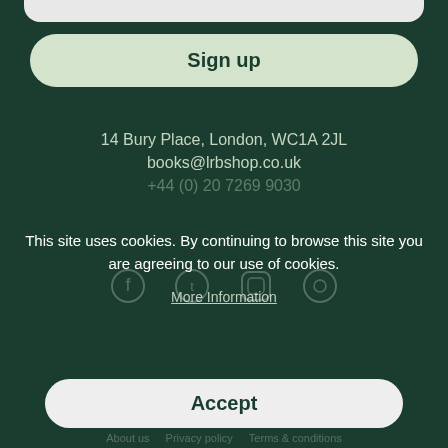Sign up
14 Bury Place, London, WC1A 2JL
books@lrbshop.co.uk
+44 (0) 20 7269 9030
This site uses cookies. By continuing to browse this site you are agreeing to our use of cookies.
More Information
Books   Events   Podcasts & video   Cake Shop
Accept
About us   Privacy policy   Terms & conditions